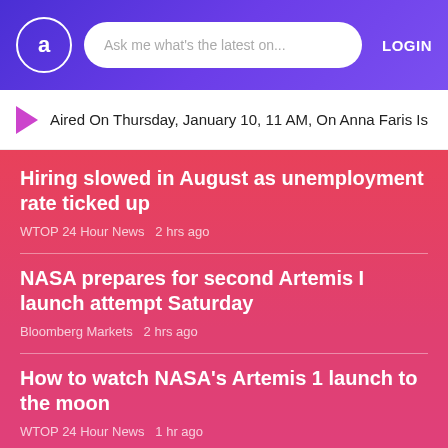Ask me what's the latest on... LOGIN
Aired On Thursday, January 10, 11 AM, On Anna Faris Is
Hiring slowed in August as unemployment rate ticked up
WTOP 24 Hour News   2 hrs ago
NASA prepares for second Artemis I launch attempt Saturday
Bloomberg Markets   2 hrs ago
How to watch NASA's Artemis 1 launch to the moon
WTOP 24 Hour News   1 hr ago